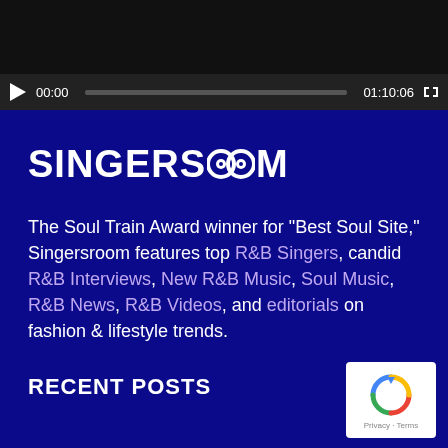[Figure (screenshot): Video player control bar showing play button, timecode 00:00, progress bar, duration 01:10:06, and fullscreen button on dark background]
SINGERSROOM
The Soul Train Award winner for "Best Soul Site," Singersroom features top R&B Singers, candid R&B Interviews, New R&B Music, Soul Music, R&B News, R&B Videos, and editorials on fashion & lifestyle trends.
RECENT POSTS